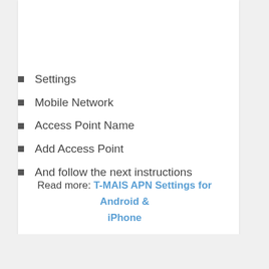Settings
Mobile Network
Access Point Name
Add Access Point
And follow the next instructions
Read more: T-MAIS APN Settings for Android & iPhone